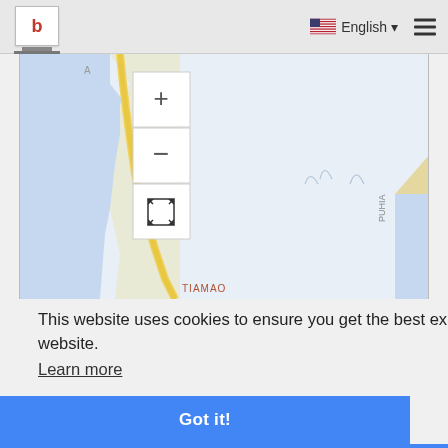b | English ☰
[Figure (map): Google Maps showing coastal area of Māra'a and TIAMAO in French Polynesia, with zoom controls (+, −, fullscreen) visible. A yellow road runs along the coast. Ocean shown in light blue.]
This website uses cookies to ensure you get the best experience on our website.
Learn more
Got it!